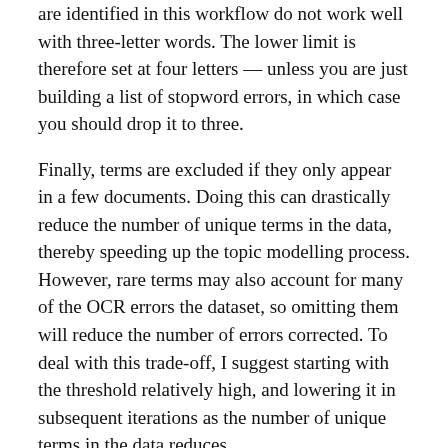are identified in this workflow do not work well with three-letter words. The lower limit is therefore set at four letters — unless you are just building a list of stopword errors, in which case you should drop it to three.
Finally, terms are excluded if they only appear in a few documents. Doing this can drastically reduce the number of unique terms in the data, thereby speeding up the topic modelling process. However, rare terms may also account for many of the OCR errors the dataset, so omitting them will reduce the number of errors corrected. To deal with this trade-off, I suggest starting with the threshold relatively high, and lowering it in subsequent iterations as the number of unique terms in the data reduces.
Topic modelling
As I mentioned earlier, this workflow employs topic modelling — specifically LDA, which is the only algorithm